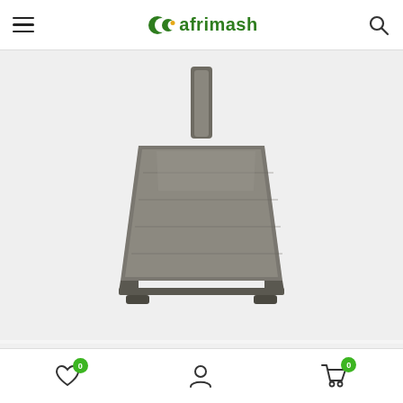afrimash
[Figure (photo): Main product image showing a large metal platform scale (weighing scale) viewed from above, with a pole/column rising from the back. Metal surface is dark grey/silver. White/light grey background.]
[Figure (photo): Thumbnail 1: Full view of a platform scale standing upright with digital display on a tall pole]
[Figure (photo): Thumbnail 2: Close-up angle view of scale display/head unit on stand]
[Figure (photo): Thumbnail 3: Close-up of digital display screen with oval highlight circle]
[Figure (photo): Thumbnail 4: Side profile view of complete platform scale with display on pole]